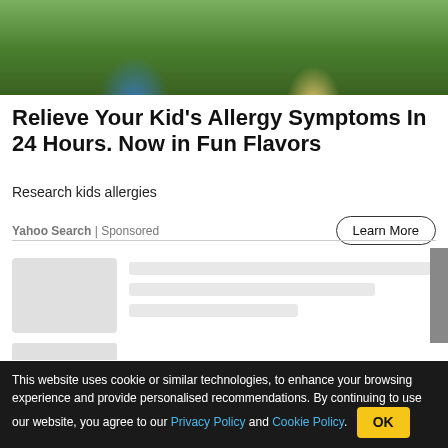[Figure (photo): Two children outdoors, one in blue shirt with braids, one in striped tank top, green background]
Relieve Your Kid's Allergy Symptoms In 24 Hours. Now in Fun Flavors
Research kids allergies
Yahoo Search | Sponsored
Learn More
[Figure (other): Loading skeleton cards with placeholder image and text lines, plus a gray scrollbar on right]
[Figure (photo): Advertisement image showing a person sleeping, used for Tardive Dyskinesia ad]
Clear Signs of Tardive Dyskinesia Most People May Not Realize
AD  Tardive Dyskinesia | Search Ad
This website uses cookie or similar technologies, to enhance your browsing experience and provide personalised recommendations. By continuing to use our website, you agree to our Privacy Policy and Cookie Policy.   OK